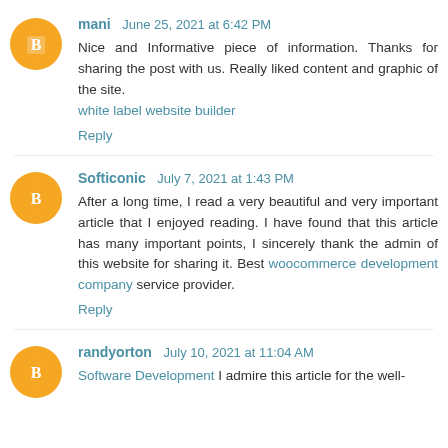mani  June 25, 2021 at 6:42 PM
Nice and Informative piece of information. Thanks for sharing the post with us. Really liked content and graphic of the site.
white label website builder
Reply
Softiconic  July 7, 2021 at 1:43 PM
After a long time, I read a very beautiful and very important article that I enjoyed reading. I have found that this article has many important points, I sincerely thank the admin of this website for sharing it. Best woocommerce development company service provider.
Reply
randyorton  July 10, 2021 at 11:04 AM
Software Development I admire this article for the well-